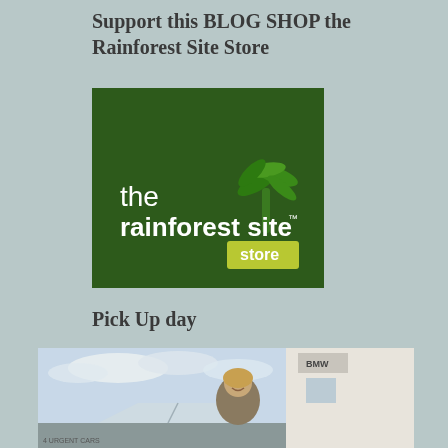Support this BLOG SHOP the Rainforest Site Store
[Figure (logo): The Rainforest Site Store logo — dark green square background with white text 'the rainforest site' and a green palm tree graphic, plus a yellow-green rectangle with white text 'store']
Pick Up day
[Figure (photo): Photo of a smiling person at what appears to be a car dealership, with a BMW sign visible on a white building in the background and cloudy sky]